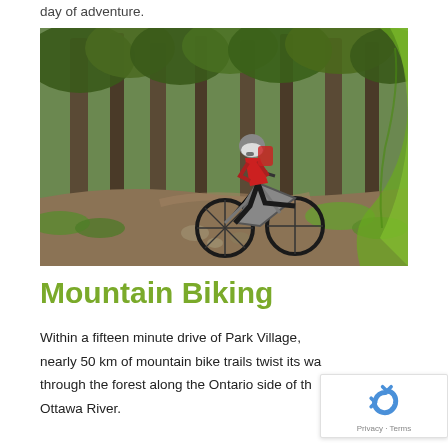day of adventure.
[Figure (photo): Mountain biker riding through a forested trail, wearing a red shirt and black helmet, navigating rocks and roots on a single-track path with tall pine trees in background.]
Mountain Biking
Within a fifteen minute drive of Park Village, nearly 50 km of mountain bike trails twist its way through the forest along the Ontario side of the Ottawa River.